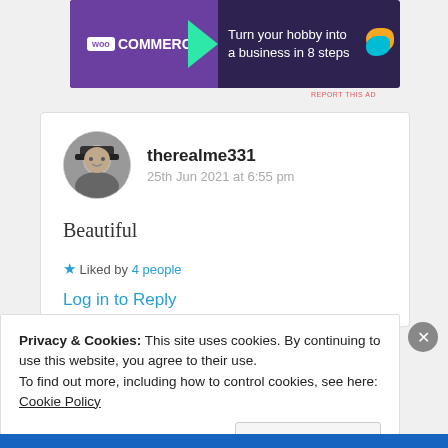[Figure (illustration): WooCommerce advertisement banner: purple background with WooCommerce logo, green triangle decoration, orange and cyan blobs, text 'Turn your hobby into a business in 8 steps']
REPORT THIS AD
[Figure (photo): Circular avatar photo of a man wearing a hat, in grayscale]
therealme331
25th Jun 2021 at 6:55 pm
Beautiful
★ Liked by 4 people
Log in to Reply
Privacy & Cookies: This site uses cookies. By continuing to use this website, you agree to their use.
To find out more, including how to control cookies, see here: Cookie Policy
Close and accept